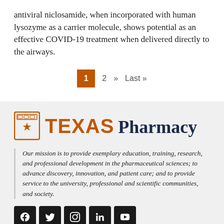antiviral niclosamide, when incorporated with human lysozyme as a carrier molecule, shows potential as an effective COVID-19 treatment when delivered directly to the airways.
1  2  »  Last»
[Figure (logo): Texas Pharmacy logo with UT shield and orange TEXAS text and dark blue Pharmacy text]
Our mission is to provide exemplary education, training, research, and professional development in the pharmaceutical sciences; to advance discovery, innovation, and patient care; and to provide service to the university, professional and scientific communities, and society.
[Figure (infographic): Social media icons: Facebook, Twitter, Instagram, LinkedIn, YouTube in black square buttons]